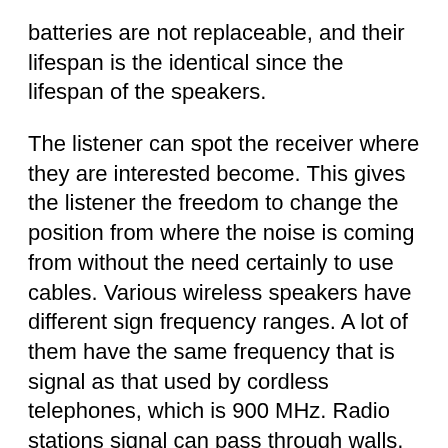batteries are not replaceable, and their lifespan is the identical since the lifespan of the speakers.
The listener can spot the receiver where they are interested become. This gives the listener the freedom to change the position from where the noise is coming from without the need certainly to use cables. Various wireless speakers have different sign frequency ranges. A lot of them have the same frequency that is signal as that used by cordless telephones, which is 900 MHz. Radio stations signal can pass through walls, floors, and ceilings. The presenter, consequently, may be placed in various rooms in the home and transmit sound still. Signals can be sent over a selection of as much as 300 feet with some speakers, but the range varies with regards to the brand.
Speakers may have transmission that is variable